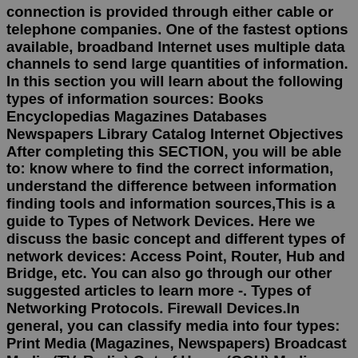connection is provided through either cable or telephone companies. One of the fastest options available, broadband Internet uses multiple data channels to send large quantities of information. In this section you will learn about the following types of information sources: Books Encyclopedias Magazines Databases Newspapers Library Catalog Internet Objectives After completing this SECTION, you will be able to: know where to find the correct information, understand the difference between information finding tools and information sources,This is a guide to Types of Network Devices. Here we discuss the basic concept and different types of network devices: Access Point, Router, Hub and Bridge, etc. You can also go through our other suggested articles to learn more -. Types of Networking Protocols. Firewall Devices.In general, you can classify media into four types: Print Media (Magazines, Newspapers) Broadcast Media (TV, Radio) Out of Home (OOH) Media Internet What are the 4 types of media? Print Media This type of media